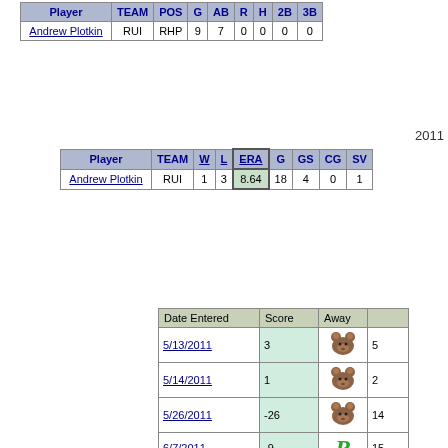| Player | TEAM | POS | G | AB | R | H | 2B | 3B |
| --- | --- | --- | --- | --- | --- | --- | --- | --- |
| Andrew Plotkin | RUI | RHP | 9 | 7 | 0 | 0 | 0 | 0 |
2011
| Player | TEAM | W | L | ERA | G | GS | CG | SV |
| --- | --- | --- | --- | --- | --- | --- | --- | --- |
| Andrew Plotkin | RUI | 1 | 3 | 8.64 | 18 | 4 | 0 | 1 |
| Date Entered | Score | Away |  |
| --- | --- | --- | --- |
| 5/13/2011 | 3 | [bear] | 5 |
| 5/14/2011 | 1 | [bear] | 2 |
| 5/26/2011 | -26 | [bear] | 14 |
| 6/7/2011 | -9 | [R] | 15 |
| 6/15/2011 | -28 | [bear] | 2 |
| 6/19/2011 | 11 | [R] | 17 |
| 6/20/2011 | -10 | [bear] | 10 |
| 6/21/2011 | -2 | [bear] | 4 |